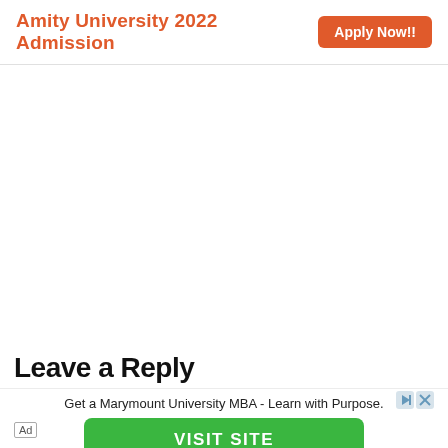Amity University 2022 Admission  Apply Now!!
[Figure (other): Large blank white space area in the middle of the page (empty content area)]
Leave a Reply
Get a Marymount University MBA - Learn with Purpose.
VISIT SITE
Ad